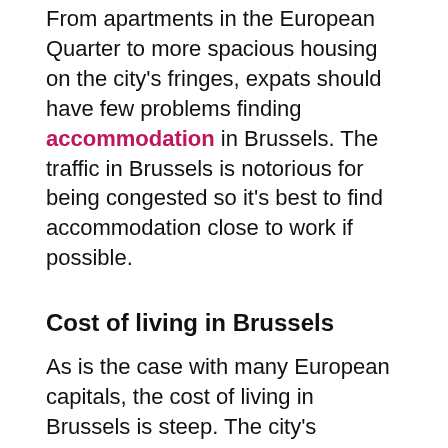From apartments in the European Quarter to more spacious housing on the city's fringes, expats should have few problems finding accommodation in Brussels. The traffic in Brussels is notorious for being congested so it's best to find accommodation close to work if possible.
Cost of living in Brussels
As is the case with many European capitals, the cost of living in Brussels is steep. The city's fascinating culture, beautiful architecture and, most of all, its ample business opportunities mean that Brussels is in high demand. Belgium's heavy tax requirements can take up a significant proportion of one's income, though this is somewhat offset by its excellent social-security offerings.
Climate in Brussels
Brussels weather is mild, tending towards grey skies and light showers year round. Even sunny days can become overcast quickly, bringing unexpected rainfall. Expats